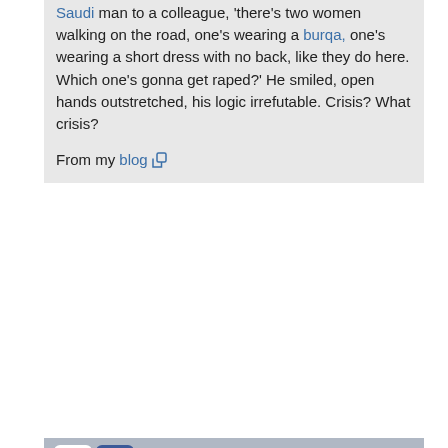Saudi man to a colleague, 'there's two women walking on the road, one's wearing a burqa, one's wearing a short dress with no back, like they do here. Which one's gonna get raped?' He smiled, open hands outstretched, his logic irrefutable. Crisis? What crisis?
From my blog
[Figure (infographic): Social sharing bar with Twitter, Facebook, Delicious, Digg, StumbleUpon, Reddit icons, 'I like it!' button and '1 C!' count]
(poetry) by just1wheat Sat Aug 02 2014 at 20:52:44